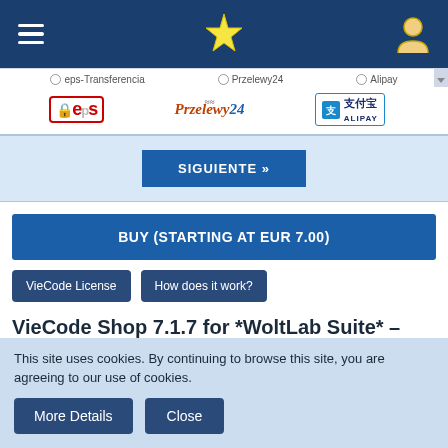Header navigation bar with hamburger menu, star logo, and user icon
[Figure (screenshot): Payment provider logos: eps-Transferencia, Przelewy24, Alipay with radio buttons]
SIGUIENTE »
BUY (STARTING AT EUR 7.00)
VieCode License   How does it work?
VieCode Shop 7.1.7 for *WoltLab Suite* – Spanish – Frontend + Backend
The perfect shop for your community with with professional
This site uses cookies. By continuing to browse this site, you are agreeing to our use of cookies.